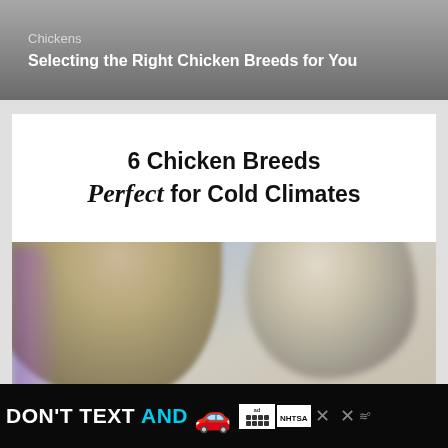Chickens
Selecting the Right Chicken Breeds for You
[Figure (illustration): Article thumbnail image for '6 Chicken Breeds Perfect for Cold Climates' showing fluffy chickens in a cold/wintry background. Text overlay reads '6 Chicken Breeds Perfect for Cold Climates' with 'Perfect' in italic script font.]
DON'T TEXT AND [car emoji] ad NHTSA